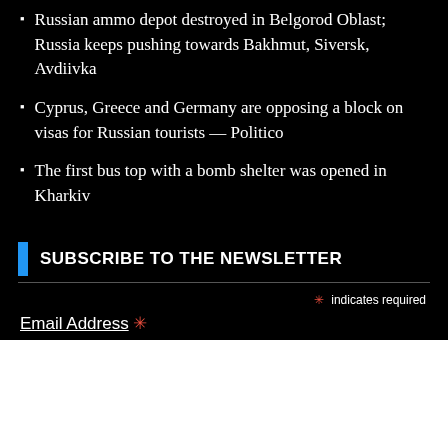Russian ammo depot destroyed in Belgorod Oblast; Russia keeps pushing towards Bakhmut, Siversk, Avdiivka
Cyprus, Greece and Germany are opposing a block on visas for Russian tourists — Politico
The first bus top with a bomb shelter was opened in Kharkiv
SUBSCRIBE TO THE NEWSLETTER
* indicates required
Email Address *